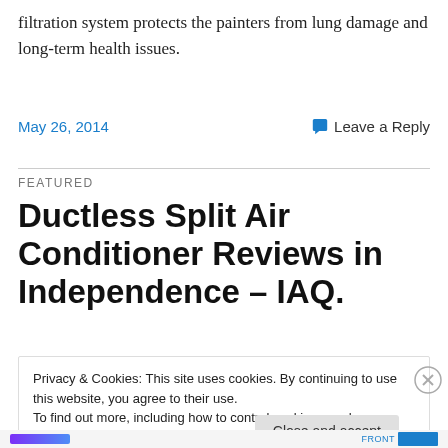filtration system protects the painters from lung damage and long-term health issues.
May 26, 2014   Leave a Reply
FEATURED
Ductless Split Air Conditioner Reviews in Independence – IAQ.
Privacy & Cookies: This site uses cookies. By continuing to use this website, you agree to their use.
To find out more, including how to control cookies, see here: Cookie Policy
Close and accept